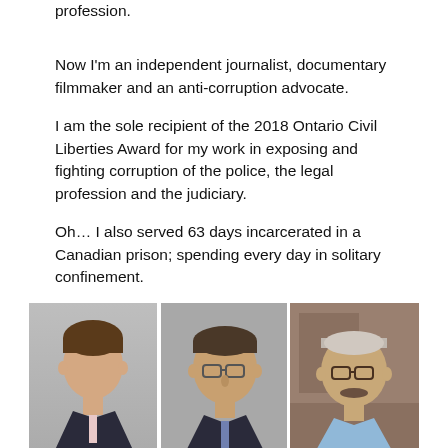profession.
Now I’m an independent journalist, documentary filmmaker and an anti-corruption advocate.
I am the sole recipient of the 2018 Ontario Civil Liberties Award for my work in exposing and fighting corruption of the police, the legal profession and the judiciary.
Oh… I also served 63 days incarcerated in a Canadian prison; spending every day in solitary confinement.
[Figure (photo): Three headshot photos side by side of senior Ontario lawyers: Gerald Ranking (center), Lorne Oliver (left), and another individual (right).]
Senior Ontario lawyers Gerald Ranking (center), Lorne Oliver (left) and another person (right). [text continues]